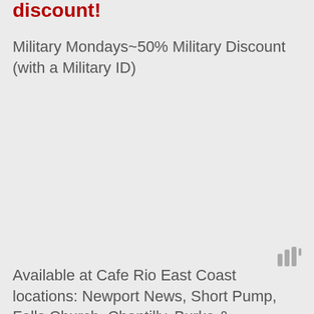discount!
Military Mondays~50% Military Discount (with a Military ID)
Available at Cafe Rio East Coast locations: Newport News, Short Pump, Falls Church, Chantilly, Burke & Manassas as well as our MD locations: Frederick,